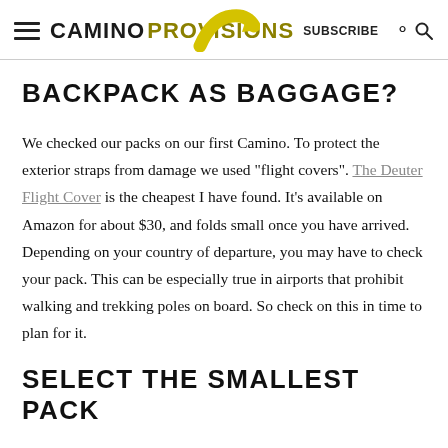CAMINO PROVISIONS  SUBSCRIBE
BACKPACK AS BAGGAGE?
We checked our packs on our first Camino. To protect the exterior straps from damage we used "flight covers". The Deuter Flight Cover is the cheapest I have found. It's available on Amazon for about $30, and folds small once you have arrived. Depending on your country of departure, you may have to check your pack. This can be especially true in airports that prohibit walking and trekking poles on board. So check on this in time to plan for it.
SELECT THE SMALLEST PACK